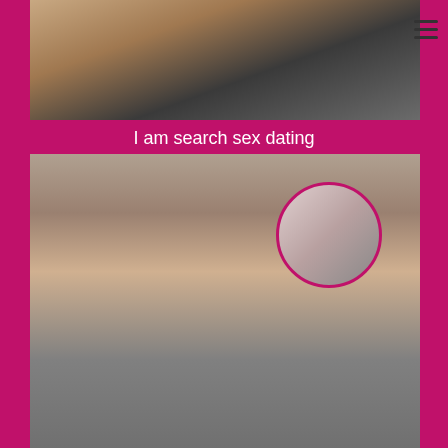[Figure (photo): Photo of a person in dark lingerie against a light background, upper body visible]
I am search sex dating
[Figure (photo): Photo of a young woman with long wavy hair wearing black lingerie, posing with back turned, and a circular inset photo of another woman]